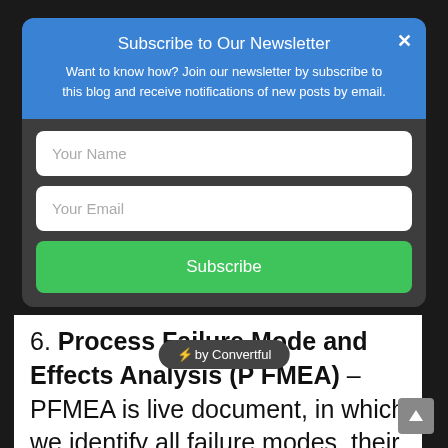Subscribe to Our Newsletter
Want to know how? Join our newsletter by subscribe to this blog and receive notifications of new posts by email.
Your Name
Your Email
Subscribe
⚡ by Convertful
6. Process Failure Mode and Effects Analysis (P FMEA) – PFMEA is live document, in which we identify all failure modes, their potential causes and then apply the respective controls on it.